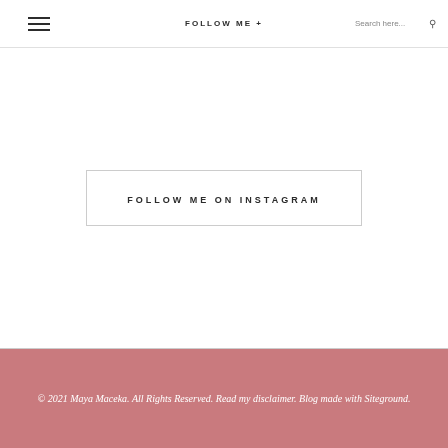FOLLOW ME +  Search here...
FOLLOW ME ON INSTAGRAM
© 2021 Maya Maceka. All Rights Reserved. Read my disclaimer. Blog made with Siteground.